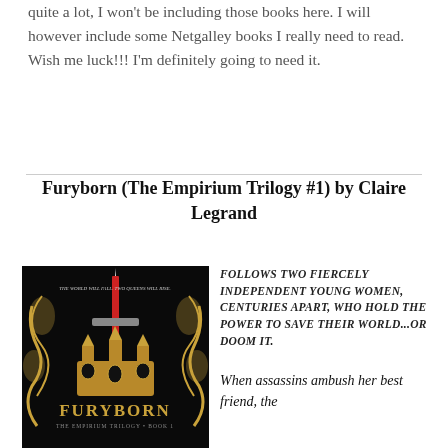quite a lot, I won't be including those books here. I will however include some Netgalley books I really need to read. Wish me luck!!! I'm definitely going to need it.
Furyborn (The Empirium Trilogy #1) by Claire Legrand
[Figure (photo): Book cover of Furyborn: The Empirium Trilogy Book 1, dark background with a golden crown and a sword, ornate golden decorative swirls]
FOLLOWS TWO FIERCELY INDEPENDENT YOUNG WOMEN, CENTURIES APART, WHO HOLD THE POWER TO SAVE THEIR WORLD...OR DOOM IT.
When assassins ambush her best friend, the